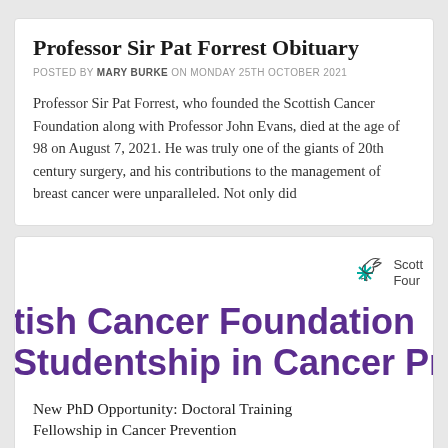Professor Sir Pat Forrest Obituary
POSTED BY MARY BURKE ON MONDAY 25TH OCTOBER 2021
Professor Sir Pat Forrest, who founded the Scottish Cancer Foundation along with Professor John Evans, died at the age of 98 on August 7, 2021. He was truly one of the giants of 20th century surgery, and his contributions to the management of breast cancer were unparalleled. Not only did
[Figure (logo): Scottish Cancer Foundation logo with stylized bird/leaf graphic and text 'Scott Four']
tish Cancer Foundation Studentship in Cancer Prevention
New PhD Opportunity: Doctoral Training Fellowship in Cancer Prevention